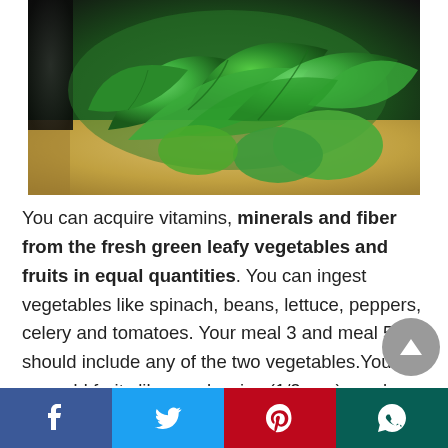[Figure (photo): Fresh green spinach leaves piled on a wooden cutting board with dark background]
You can acquire vitamins, minerals and fiber from the fresh green leafy vegetables and fruits in equal quantities. You can ingest vegetables like spinach, beans, lettuce, peppers, celery and tomatoes. Your meal 3 and meal 5 should include any of the two vegetables.You can add fruits like raspberries (1/2 cup), apples (1 small)